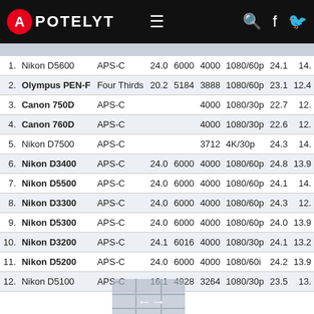APOTELYT
| # | Camera | Sensor | MP | W | H | Video | Score1 | Score2 |
| --- | --- | --- | --- | --- | --- | --- | --- | --- |
| 1. | Nikon D5600 | APS-C | 24.0 | 6000 | 4000 | 1080/60p | 24.1 | 14. |
| 2. | Olympus PEN-F | Four Thirds | 20.2 | 5184 | 3888 | 1080/60p | 23.1 | 12.4 |
| 3. | Canon 750D | APS-C |  |  | 4000 | 1080/30p | 22.7 | 12. |
| 4. | Canon 760D | APS-C |  |  | 4000 | 1080/30p | 22.6 | 12. |
| 5. | Nikon D7500 | APS-C |  |  | 3712 | 4K/30p | 24.3 | 14. |
| 6. | Nikon D3400 | APS-C | 24.0 | 6000 | 4000 | 1080/60p | 24.8 | 13.9 |
| 7. | Nikon D5500 | APS-C | 24.0 | 6000 | 4000 | 1080/60p | 24.1 | 14. |
| 8. | Nikon D3300 | APS-C | 24.0 | 6000 | 4000 | 1080/60p | 24.3 | 12. |
| 9. | Nikon D5300 | APS-C | 24.0 | 6000 | 4000 | 1080/60p | 24.0 | 13.9 |
| 10. | Nikon D3200 | APS-C | 24.1 | 6016 | 4000 | 1080/30p | 24.1 | 13.2 |
| 11. | Nikon D5200 | APS-C | 24.0 | 6000 | 4000 | 1080/60i | 24.2 | 13.9 |
| 12. | Nikon D5100 | APS-C | 16.1 | 4928 | 3264 | 1080/30p | 23.5 | 13. |